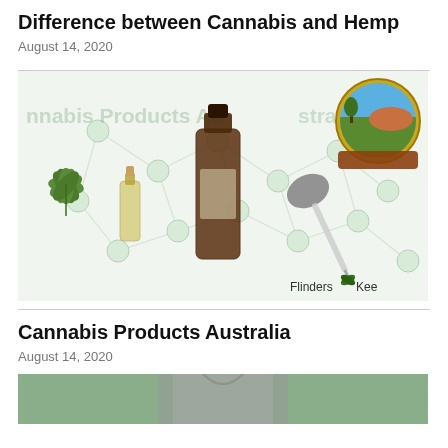Difference between Cannabis and Hemp
August 14, 2020
[Figure (photo): Cannabis products photo showing brown glass dropper bottles, a small glass bottle with yellow oil, a cannabis leaf, and a medicine dropper, with molecular structure background. Cannabis Products Australia watermark and Flinders Kee logo visible.]
Cannabis Products Australia
August 14, 2020
[Figure (photo): Partial image strip at bottom showing a person in grey clothing, cropped.]